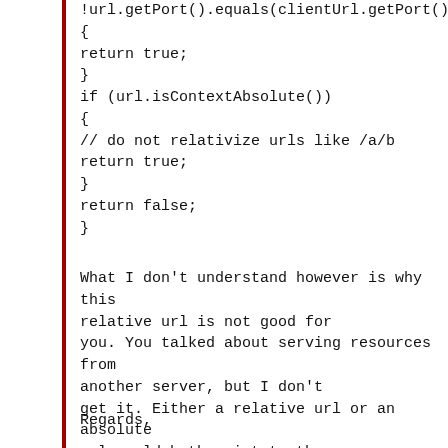!url.getPort().equals(clientUrl.getPort()))
{
return true;
}
if (url.isContextAbsolute())
{
// do not relativize urls like /a/b
return true;
}
return false;
}
What I don't understand however is why this relative url is not good for you. You talked about serving resources from another server, but I don't get it. Either a relative url or an absolute url would both point to the same resource when interpreted on the client.
Regards,